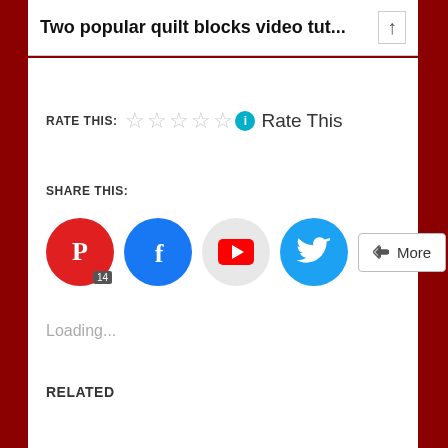Two popular quilt blocks video tut...
RATE THIS: ★★★★★ Rate This
SHARE THIS:
[Figure (other): Social share buttons: Pinterest (14), Facebook, YouTube, Twitter, and More]
Loading...
RELATED